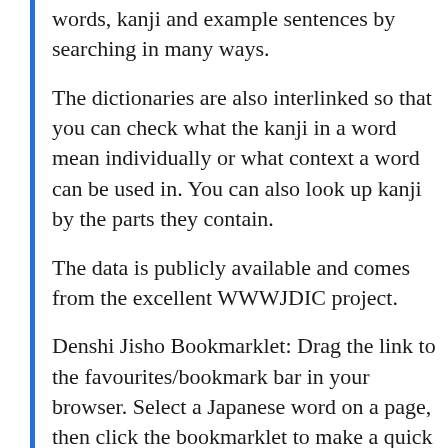words, kanji and example sentences by searching in many ways.
The dictionaries are also interlinked so that you can check what the kanji in a word mean individually or what context a word can be used in. You can also look up kanji by the parts they contain.
The data is publicly available and comes from the excellent WWWJDIC project.
Denshi Jisho Bookmarklet: Drag the link to the favourites/bookmark bar in your browser. Select a Japanese word on a page, then click the bookmarklet to make a quick lookup on that word.
For d it i